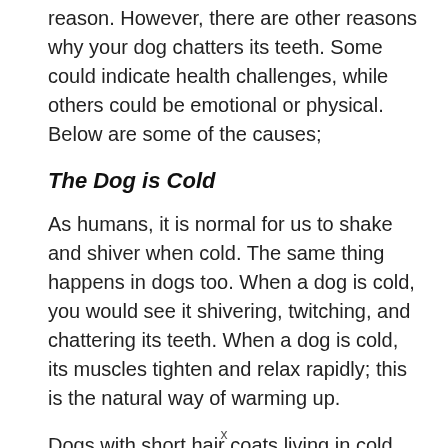reason. However, there are other reasons why your dog chatters its teeth. Some could indicate health challenges, while others could be emotional or physical. Below are some of the causes;
The Dog is Cold
As humans, it is normal for us to shake and shiver when cold. The same thing happens in dogs too. When a dog is cold, you would see it shivering, twitching, and chattering its teeth. When a dog is cold, its muscles tighten and relax rapidly; this is the natural way of warming up.
Dogs with short hair coats living in cold regions
x